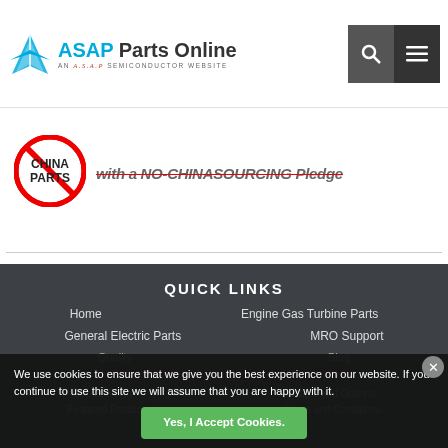ASAP Parts Online — AN A.S.A.P SEMICONDUCTOR WEBSITE
[Figure (logo): ASAP Parts Online logo with blue arrow icon and tagline 'AN A.S.A.P SEMICONDUCTOR WEBSITE']
[Figure (illustration): No China Parts badge — circular red prohibition sign over text 'CHINA PARTS']
with a NO-CHINASOURING Pledge
QUICK LINKS
Home
Engine Gas Turbine Parts
General Electric Parts
MRO Support
Quality
Blog
LINKING, FRAMING, MIRRORING, SCRAPING OR DATA-MINING STRICTLY PROHIBITED
Cookie Policy
Consignment Options
Featured Products
Terms and Conditions
We use cookies to ensure that we give you the best experience on our website. If you continue to use this site we will assume that you are happy with it.
Yes, I Accept Cookies.